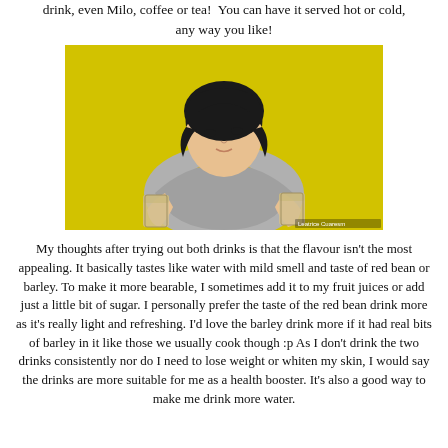drink, even Milo, coffee or tea! You can have it served hot or cold, any way you like!
[Figure (photo): A young woman holding two glasses of a light brown/beige drink, posing in front of a yellow background, smiling slightly upward.]
My thoughts after trying out both drinks is that the flavour isn't the most appealing. It basically tastes like water with mild smell and taste of red bean or barley. To make it more bearable, I sometimes add it to my fruit juices or add just a little bit of sugar. I personally prefer the taste of the red bean drink more as it's really light and refreshing. I'd love the barley drink more if it had real bits of barley in it like those we usually cook though :p As I don't drink the two drinks consistently nor do I need to lose weight or whiten my skin, I would say the drinks are more suitable for me as a health booster. It's also a good way to make me drink more water.